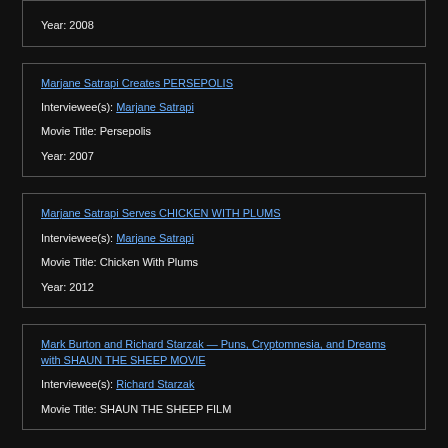Year: 2008
Marjane Satrapi Creates PERSEPOLIS | Interviewee(s): Marjane Satrapi | Movie Title: Persepolis | Year: 2007
Marjane Satrapi Serves CHICKEN WITH PLUMS | Interviewee(s): Marjane Satrapi | Movie Title: Chicken With Plums | Year: 2012
Mark Burton and Richard Starzak — Puns, Cryptomnesia, and Dreams with SHAUN THE SHEEP MOVIE | Interviewee(s): Richard Starzak | Movie Title: SHAUN THE SHEEP FILM